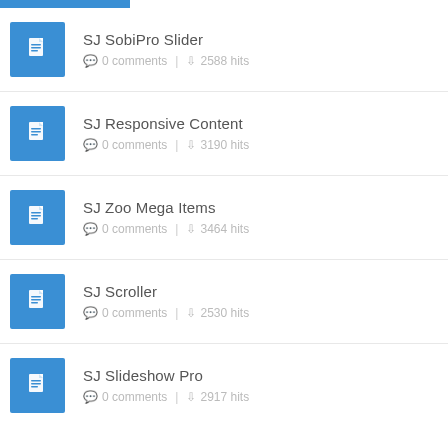SJ SobiPro Slider | 0 comments | 2588 hits
SJ Responsive Content | 0 comments | 3190 hits
SJ Zoo Mega Items | 0 comments | 3464 hits
SJ Scroller | 0 comments | 2530 hits
SJ Slideshow Pro | 0 comments | 2917 hits